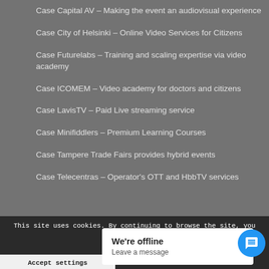Case Capital AV – Making the event an audiovisual experience
Case City of Helsinki – Online Video Services for Citizens
Case Futurelabs – Training and scaling expertise via video academy
Case ICOMEM – Video academy for doctors and citizens
Case LavisTV – Paid Live streaming service
Case Minifiddlers – Premium Learning Courses
Case Tampere Trade Fairs provides hybrid events
Case Telecentras – Operator's OTT and HbbTV services
Case Valdatus – OTT service for content owner
Company
This site uses cookies. By continuing to browse the site, you are agree
We're offline
Leave a message
Accept settings
tti
ms